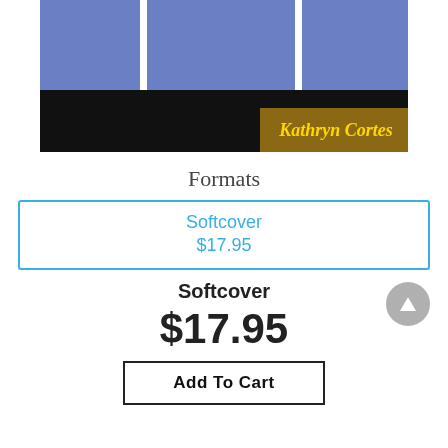[Figure (illustration): Bottom portion of a book cover showing a blue sky with white poles, a black band, and a brown/tan section with yellow italic text 'Kathryn Cortes']
Formats
Softcover
$17.95
Softcover
$17.95
Add To Cart